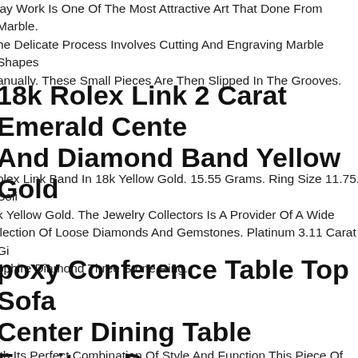lay Work Is One Of The Most Attractive Art That Done From Marble. he Delicate Process Involves Cutting And Engraving Marble Shapes anually. These Small Pieces Are Then Slipped In The Grooves.
18k Rolex Link 2 Carat Emerald Cente And Diamond Band Yellow Gold
olex Link Band In 18k Yellow Gold. 15.55 Grams. Ring Size 11.75. Soli k Yellow Gold. The Jewelry Collectors Is A Provider Of A Wide llection Of Loose Diamonds And Gemstones. Platinum 3.11 Carat Gi pphire Diamond Three Stone Ring.
poxy Conference Table Top Sofa Center Dining Table Furniture Deco Made To Order
ith Its Perfect Combination Of Style And Function This Piece Of